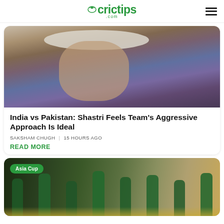crictips.com
[Figure (photo): Close-up photo of a cricket coach or official wearing a white wide-brim hat and blue jacket, looking sideways with a serious expression]
India vs Pakistan: Shastri Feels Team's Aggressive Approach Is Ideal
SAKSHAM CHUGH  15 HOURS AGO
READ MORE
[Figure (photo): Group of Pakistan cricket players in green uniforms with 'Asia Cup' badge overlay in top-left corner]